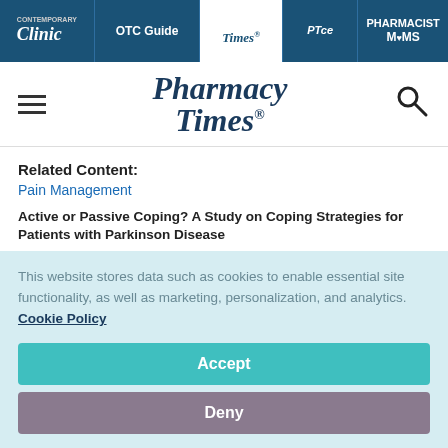[Figure (screenshot): Top navigation bar with logos: Contemporary Clinic, OTC Guide, Pharmacy Times (active/white), PTce, Pharmacist Moms — all on dark teal/navy background]
[Figure (logo): Pharmacy Times logo with hamburger menu on left and search icon on right]
Related Content:
Pain Management
Active or Passive Coping? A Study on Coping Strategies for Patients with Parkinson Disease
Opioid Tapering: Pharmacists Can Make a Difference
Medical Cannabis for Chronic Pain Shows Link to Small Risk of Heart
This website stores data such as cookies to enable essential site functionality, as well as marketing, personalization, and analytics. Cookie Policy
Accept
Deny